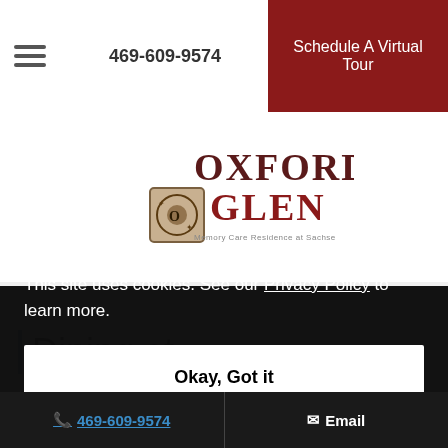469-609-9574 | Schedule A Virtual Tour
[Figure (logo): Oxford Glen Memory Care Residence at Sachse logo with decorative emblem]
Dining at
This site uses cookies. See our Privacy Policy to learn more.
Okay, Got it
469-609-9574 | Email